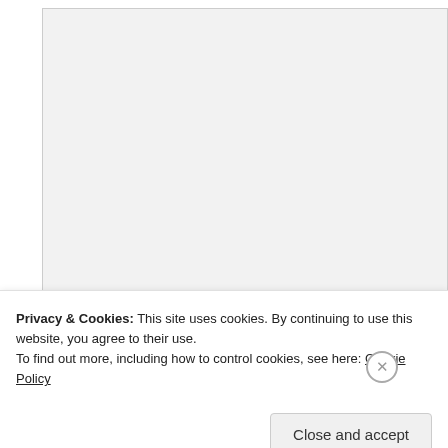[Figure (screenshot): Large empty textarea input field with light gray background and border]
Name
[Figure (screenshot): Name text input field with light gray background and border]
Email
[Figure (screenshot): Email text input field with light gray background and border]
Privacy & Cookies: This site uses cookies. By continuing to use this website, you agree to their use.
To find out more, including how to control cookies, see here: Cookie Policy
Close and accept